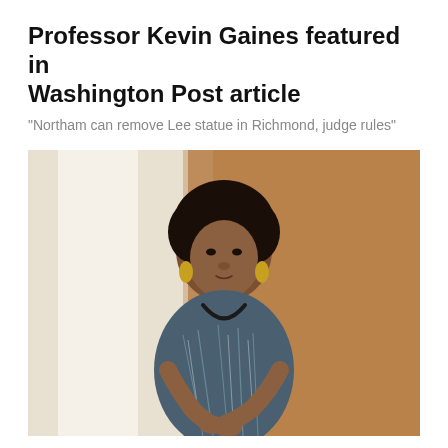Professor Kevin Gaines featured in Washington Post article
"Northam can remove Lee statue in Richmond, judge rules"
[Figure (photo): Portrait photo of a Black woman with natural hair, wearing a blue and white patterned short-sleeve top, gold teardrop earrings, and a delicate necklace. She is posed with arms crossed, standing in a warmly lit interior space with wood-toned background and a light-colored wall panel visible on the left.]